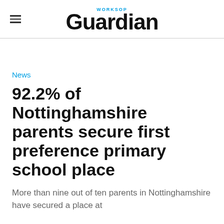Worksop Guardian
News
92.2% of Nottinghamshire parents secure first preference primary school place
More than nine out of ten parents in Nottinghamshire have secured a place at